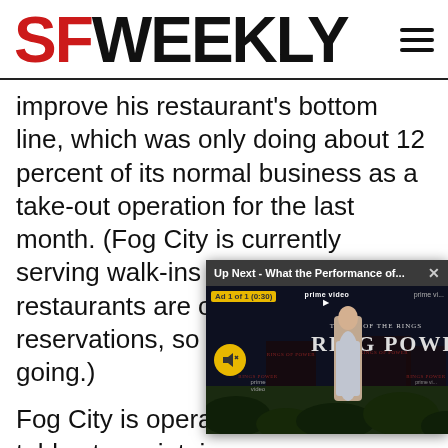SF WEEKLY
improve his restaurant’s bottom line, which was only doing about 12 percent of its normal business as a take-out operation for the last month. (Fog City is currently serving walk-ins only, but other restaurants are only accepting reservations, so the business is below going.)
[Figure (screenshot): Amazon Prime Video ad overlay showing 'Up Next - What the Performance of...' with The Lord of the Rings: The Rings of Power advertisement]
Fog City is opera tables to maintain comply with city